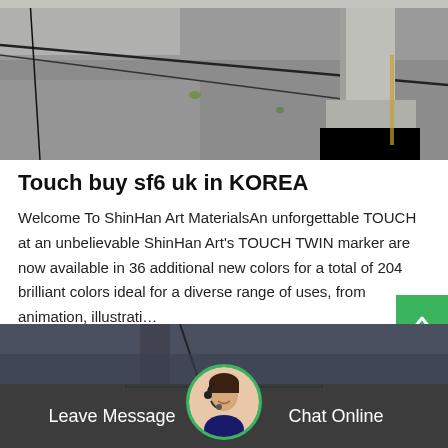[Figure (photo): Outdoor rooftop or ground area with gravel/pebble surface, electrical cables, and a concrete pillar. Industrial setting.]
Touch buy sf6 uk in KOREA
Welcome To ShinHan Art MaterialsAn unforgettable TOUCH at an unbelievable ShinHan Art's TOUCH TWIN marker are now available in 36 additional new colors for a total of 204 brilliant colors ideal for a diverse range of uses, from animation, illustrati…
[Figure (photo): Bottom partial photo of an outdoor/industrial scene with cables, dark background.]
Leave Message   Chat Online